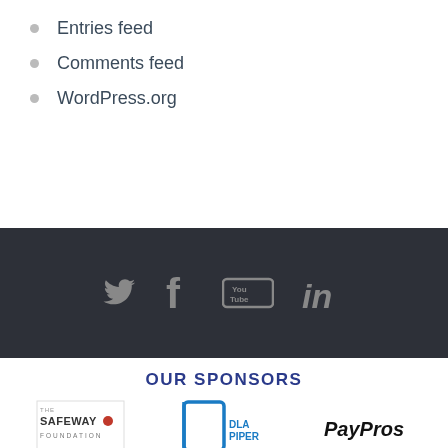Entries feed
Comments feed
WordPress.org
[Figure (infographic): Dark footer bar with social media icons: Twitter bird, Facebook f, YouTube logo, LinkedIn in]
OUR SPONSORS
[Figure (logo): The Safeway Foundation logo with red swoosh]
[Figure (logo): DLA Piper logo in blue square bracket style]
[Figure (logo): PayPros logo in black italic text]